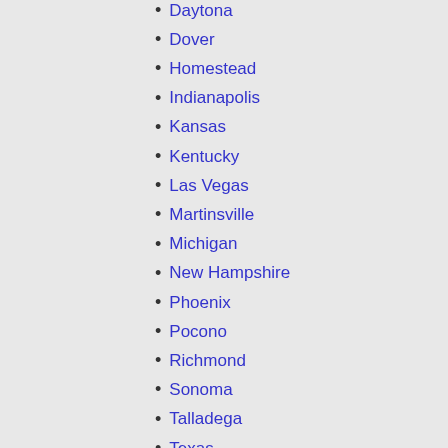Daytona
Dover
Homestead
Indianapolis
Kansas
Kentucky
Las Vegas
Martinsville
Michigan
New Hampshire
Phoenix
Pocono
Richmond
Sonoma
Talladega
Texas
Watkins Glen
Averages by Track
Averages by NASCAR Driver
Averages in last 6 races
Averages in last 15 races
Averages in last 36 races
NASCAR Stage Points
NASCAR Averages Database
NASCAR Statistics Database
NASCAR Car Numbers
NASCAR Teams Statistics